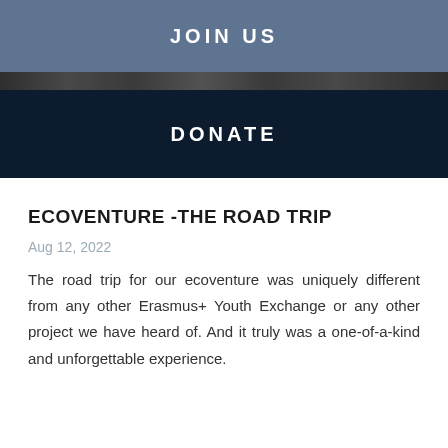JOIN US
DONATE
ECOVENTURE -THE ROAD TRIP
Aug 12, 2022
The road trip for our ecoventure was uniquely different from any other Erasmus+ Youth Exchange or any other project we have heard of. And it truly was a one-of-a-kind and unforgettable experience.